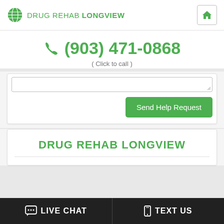DRUG REHAB LONGVIEW
(903) 471-0868
( Click to call )
[Figure (screenshot): Send Help Request button and text area form]
DRUG REHAB LONGVIEW
LIVE CHAT   TEXT US